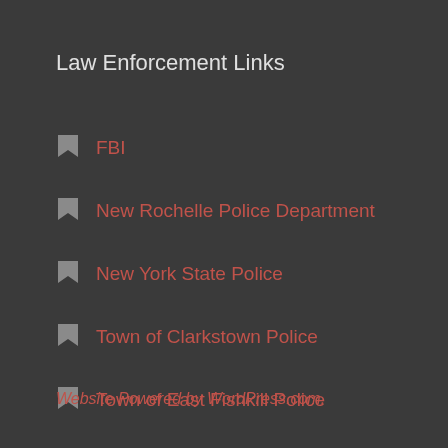Law Enforcement Links
FBI
New Rochelle Police Department
New York State Police
Town of Clarkstown Police
Town of East Fishkill Police
Westchester County Police
Website Powered by WordPress.com.